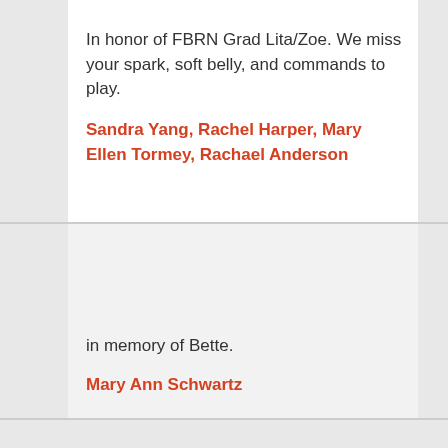In honor of FBRN Grad Lita/Zoe. We miss your spark, soft belly, and commands to play.
Sandra Yang, Rachel Harper, Mary Ellen Tormey, Rachael Anderson
in memory of Bette.
Mary Ann Schwartz